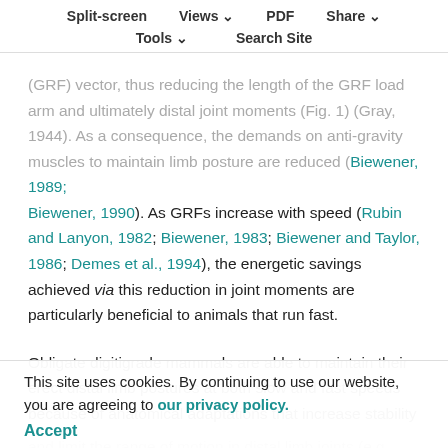Split-screen   Views   PDF   Share
Tools   Search Site
(GRF) vector, thus reducing the length of the GRF load arm and ultimately distal joint moments (Fig. 1) (Gray, 1944). As a consequence, the demands on anti-gravity muscles to maintain limb posture are reduced (Biewener, 1989; Biewener, 1990). As GRFs increase with speed (Rubin and Lanyon, 1982; Biewener, 1983; Biewener and Taylor, 1986; Demes et al., 1994), the energetic savings achieved via this reduction in joint moments are particularly beneficial to animals that run fast.
Obligate digitigrade mammals are able to maintain their erect distal limb postures at both slow and fast speeds because of anatomical adaptations that increase stability and limit the range of motion in distal limb joints (e.g. Toft et al., 1970). In contrast, some facultative digitigrade animals like non-human primates have more mobility at their distal limb joints (e.g. Yaklein, 1972), allowing them to
This site uses cookies. By continuing to use our website, you are agreeing to our privacy policy.
Accept